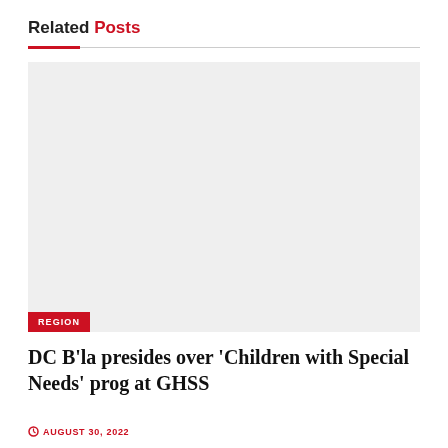Related Posts
[Figure (photo): Gray placeholder image with a red REGION badge in the bottom-left corner]
DC B'la presides over 'Children with Special Needs' prog at GHSS
AUGUST 30, 2022